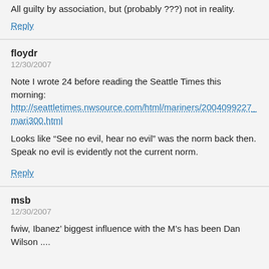All guilty by association, but (probably ???) not in reality.
Reply
floydr
12/30/2007
Note I wrote 24 before reading the Seattle Times this morning: http://seattletimes.nwsource.com/html/mariners/2004099227_mari300.html
Looks like “See no evil, hear no evil” was the norm back then. Speak no evil is evidently not the current norm.
Reply
msb
12/30/2007
fwiw, Ibanez’ biggest influence with the M’s has been Dan Wilson ....